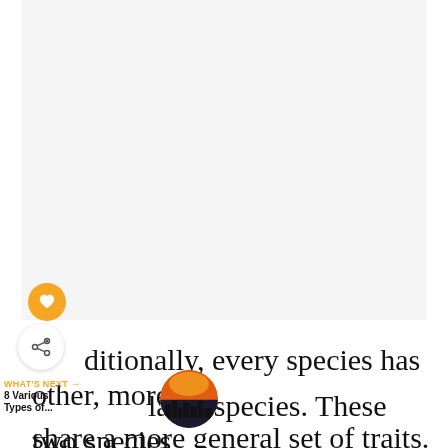[Figure (photo): Large image area, mostly blank/white, appearing to be a cropped portion of a photo]
[Figure (illustration): Orange circle button with a white heart icon (like/favorite button)]
[Figure (illustration): White circle button with a share/network icon (share button)]
WHAT'S NEXT → 8 Various Types of...
[Figure (photo): Small circular thumbnail image showing a city silhouette at sunset (dark skyline against orange/red sky)]
...ditionally, every species has other, more ...lated species. These two species share a more general set of traits. The